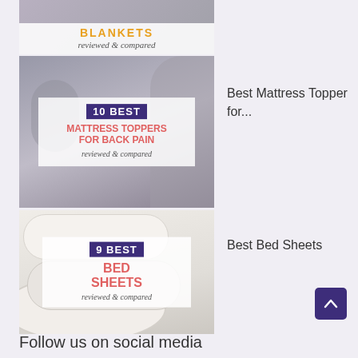[Figure (photo): Blankets reviewed and compared – partially visible image at top with orange bold title BLANKETS and script subtitle reviewed & compared]
[Figure (photo): 10 Best Mattress Toppers for Back Pain reviewed & compared – image of person holding back, overlay with purple badge, pink bold text]
Best Mattress Topper for...
[Figure (photo): 9 Best Bed Sheets reviewed & compared – image of folded white sheets, overlay with purple badge, pink bold text]
Best Bed Sheets
Follow us on social media